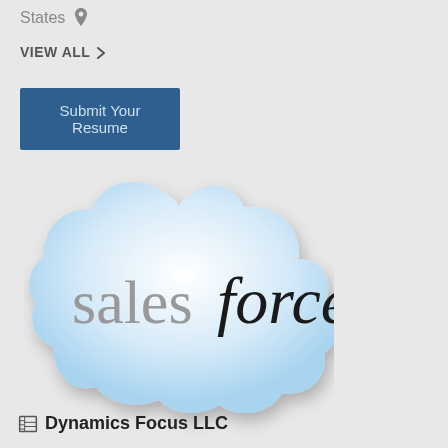States 📍
VIEW ALL >
Submit Your Resume
[Figure (logo): Salesforce cloud logo — a blue-white cloud shape with 'salesforce' text inside, 'sales' in gray serif and 'force' in black italic]
🏢 Dynamics Focus LLC